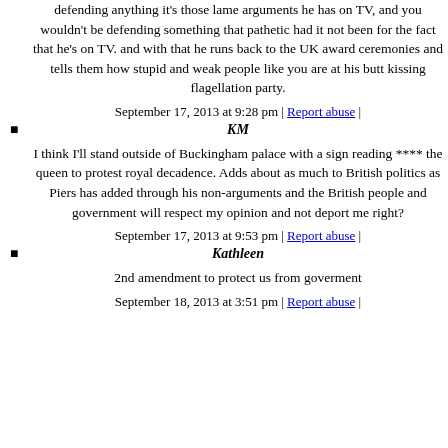defending anything it's those lame arguments he has on TV, and you wouldn't be defending something that pathetic had it not been for the fact that he's on TV. and with that he runs back to the UK award ceremonies and tells them how stupid and weak people like you are at his butt kissing flagellation party.
September 17, 2013 at 9:28 pm | Report abuse |
KM
I think I'll stand outside of Buckingham palace with a sign reading **** the queen to protest royal decadence. Adds about as much to British politics as Piers has added through his non-arguments and the British people and government will respect my opinion and not deport me right?
September 17, 2013 at 9:53 pm | Report abuse |
Kathleen
2nd amendment to protect us from goverment
September 18, 2013 at 3:51 pm | Report abuse |